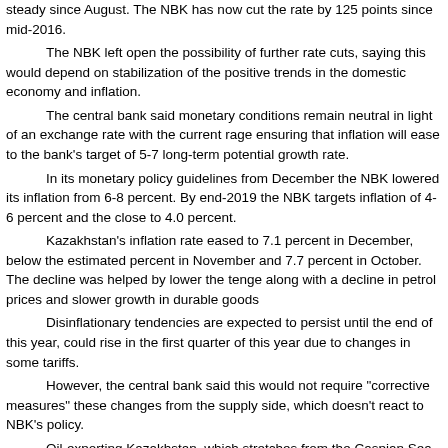steady since August. The NBK has now cut the rate by 125 points since mid-2016. The NBK left open the possibility of further rate cuts, saying this would depend on stabilization of the positive trends in the domestic economy and inflation. The central bank said monetary conditions remain neutral in light of an exchange rate consistent with the current rate ensuring that inflation will ease to the bank's target of 5-7 percent, consistent with long-term potential growth rate. In its monetary policy guidelines from December the NBK lowered its inflation forecast from 6-8 percent. By end-2019 the NBK targets inflation of 4-6 percent and the long-term goal is close to 4.0 percent. Kazakhstan's inflation rate eased to 7.1 percent in December, below the estimated 7.3 percent in November and 7.7 percent in October. The decline was helped by lower volatility in the tenge along with a decline in petrol prices and slower growth in durable goods prices. Disinflationary tendencies are expected to persist until the end of this year, but inflation could rise in the first quarter of this year due to changes in some tariffs. However, the central bank said this would not require "corrective measures" as it results from these changes from the supply side, which doesn't react to NBK's policy. Oil-exporting Kazakhstan, which stretches from the Caspian Sea to Mongolia, has battled currency volatility and in August 2015 the central bank was forced to abandon its dollar peg partly in response to the fall in crude oil prices. After sliding from May through October 2017, the tenge has risen in the last months after the bank's statement on Oct. 9 that it would sell more than US$1 billion from the assets - known as a rainy day fund - on the domestic market. In addition, the NBK's chairman, Daniyar Akishev, was also quoted as saying it would sell some foreign currency. The central bank manages both funds. Today the tenge was trading at 328.9 to the U.S. dollar, up 1.2 percent this year from the start of 2017.